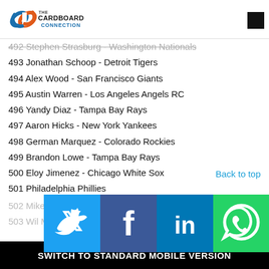The Cardboard Connection
492 Stephen Strasburg - Washington Nationals
493 Jonathan Schoop - Detroit Tigers
494 Alex Wood - San Francisco Giants
495 Austin Warren - Los Angeles Angels RC
496 Yandy Diaz - Tampa Bay Rays
497 Aaron Hicks - New York Yankees
498 German Marquez - Colorado Rockies
499 Brandon Lowe - Tampa Bay Rays
500 Eloy Jimenez - Chicago White Sox
501 Philadelphia Phillies
502 Mike Ba...
503 Wil My...
[Figure (infographic): Social sharing buttons: Twitter, Facebook, LinkedIn, WhatsApp]
SWITCH TO STANDARD MOBILE VERSION